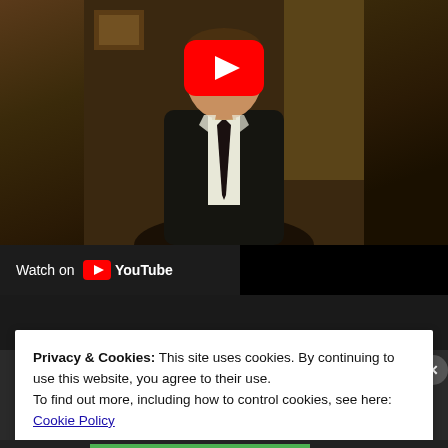[Figure (screenshot): YouTube embedded video player showing a person in a dark suit with a YouTube play button overlay and 'Watch on YouTube' label at the bottom left.]
Privacy & Cookies: This site uses cookies. By continuing to use this website, you agree to their use.
To find out more, including how to control cookies, see here: Cookie Policy
Close and accept